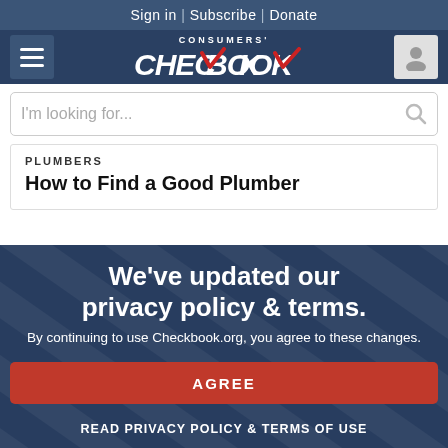Sign in | Subscribe | Donate
[Figure (logo): Consumers' Checkbook logo with red checkmark, hamburger menu icon on left, user account icon on right, on dark blue background]
I'm looking for...
PLUMBERS
How to Find a Good Plumber
We've updated our privacy policy & terms.
By continuing to use Checkbook.org, you agree to these changes.
AGREE
READ PRIVACY POLICY & TERMS OF USE